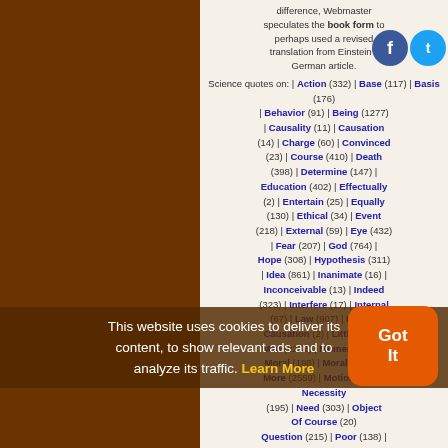difference, Webmaster speculates the book form perhaps used a revised translation from Einstein's German article.
Science quotes on: | Action (332) | Base (117) | Basis (176) | Behavior (91) | Being (1277) | Causality (11) | Causation (14) | Charge (60) | Convinced (23) | Course (410) | Death (398) | Determine (147) | Education (402) | Effectually (2) | Entertain (25) | Equally (130) | Ethical (34) | Event (218) | External (59) | Eye (432) | Fear (207) | God (764) | Hope (308) | Hypothesis (311) | Idea (861) | Inanimate (16) | Inconceivable (13) | Indeed (323) | Interfere (17) | Internal (67) | Law (907) | Law Of Causation (2) | Little (708) | Man (2252) | Moment (256) | Moral (198) | Morality (54) | More (2559) | Motion (317) | Necessity (195) | Need (303) | Object (201) | Of Course (20) | Question (215) | Poor (138) | Provide (75) | Punish (9) | Punishment (14) | Really (77)
This website uses cookies to deliver its content, to show relevant ads and to analyze its traffic. Learn More
Got It